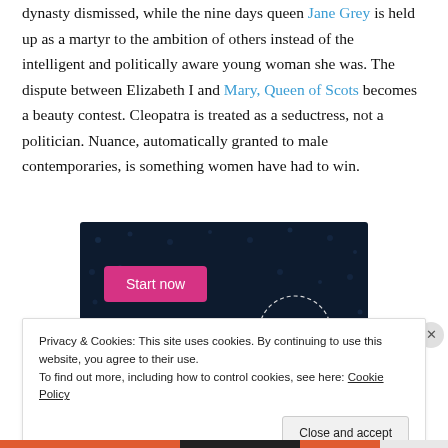dynasty dismissed, while the nine days queen Jane Grey is held up as a martyr to the ambition of others instead of the intelligent and politically aware young woman she was. The dispute between Elizabeth I and Mary, Queen of Scots becomes a beauty contest. Cleopatra is treated as a seductress, not a politician. Nuance, automatically granted to male contemporaries, is something women have had to win.
[Figure (other): Dark navy advertisement banner with a pink 'Start now' button and a circular dotted logo reading 'CROWD' in cyan text on the right side.]
Privacy & Cookies: This site uses cookies. By continuing to use this website, you agree to their use.
To find out more, including how to control cookies, see here: Cookie Policy